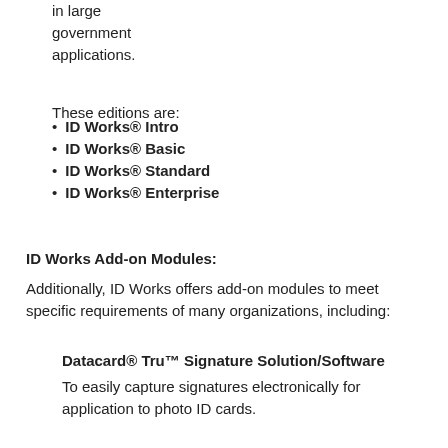in large government applications.
These editions are:
ID Works® Intro
ID Works® Basic
ID Works® Standard
ID Works® Enterprise
ID Works Add-on Modules:
Additionally, ID Works offers add-on modules to meet specific requirements of many organizations, including:
Datacard® Tru™ Signature Solution/Software
To easily capture signatures electronically for application to photo ID cards.